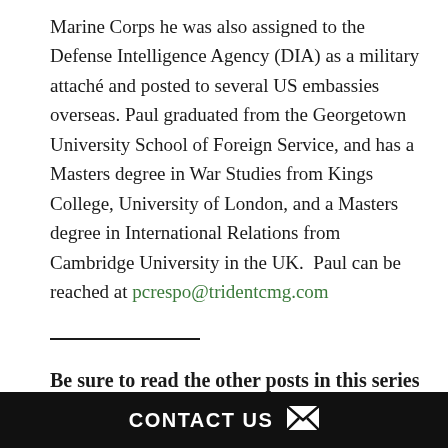Marine Corps he was also assigned to the Defense Intelligence Agency (DIA) as a military attaché and posted to several US embassies overseas. Paul graduated from the Georgetown University School of Foreign Service, and has a Masters degree in War Studies from Kings College, University of London, and a Masters degree in International Relations from Cambridge University in the UK.  Paul can be reached at pcrespo@tridentcmg.com
Be sure to read the other posts in this series by Paul Crespo:
CONTACT US